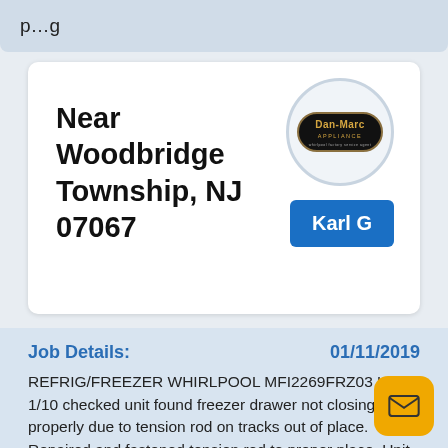p…g
Near Woodbridge Township, NJ 07067
[Figure (logo): Dan-Marc Appliance logo: oval black badge with gold text 'Dan-Marc' and 'APPLIANCE' subtitle, inside a light gray circle]
Karl G
Job Details:
01/11/2019
REFRIG/FREEZER WHIRLPOOL MFI2269FRZ03 Kg 1/10 checked unit found freezer drawer not closing properly due to tension rod on tracks out of place. Repaired and fastened tension rod to proper place. Unit door closing and sealing properly. Operating as designed.